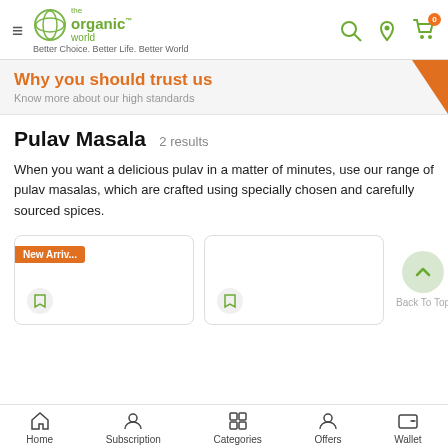[Figure (screenshot): The Organic World app header with hamburger menu, logo, tagline, and icons for search, location, and cart with 0 badge]
Why you should trust us
Know more about our high standards
Pulav Masala  2 results
When you want a delicious pulav in a matter of minutes, use our range of pulav masalas, which are crafted using specially chosen and carefully sourced spices.
[Figure (screenshot): Product card with New Arriv... tag and bookmark icon]
[Figure (screenshot): Second product card with bookmark icon and Back To Top button]
Home  Subscription  Categories  Offers  Wallet